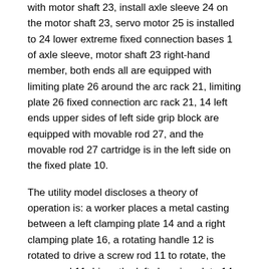with motor shaft 23, install axle sleeve 24 on the motor shaft 23, servo motor 25 is installed to 24 lower extreme fixed connection bases 1 of axle sleeve, motor shaft 23 right-hand member, both ends all are equipped with limiting plate 26 around the arc rack 21, limiting plate 26 fixed connection arc rack 21, 14 left ends upper sides of left side grip block are equipped with movable rod 27, and the movable rod 27 cartridge is in the left side on the fixed plate 10.
The utility model discloses a theory of operation is: a worker places a metal casting between a left clamping plate 14 and a right clamping plate 16, a rotating handle 12 is rotated to drive a screw rod 11 to rotate, the screw rod 11 drives the left clamping plate 14 to move towards the right clamping plate 16, so that the metal casting is clamped conveniently, a polishing machine 4 is started to drive a connecting shaft 5 and a polishing disc 6 to rotate, the metal casting is polished, a hydraulic cylinder 3 is started to adjust the distance between the polishing disc 6 and the metal casting, dust and scraps generated by polishing fall into a collecting box 20 through a funnel 19, the cleanness of a workbench is kept, a protective cover 7